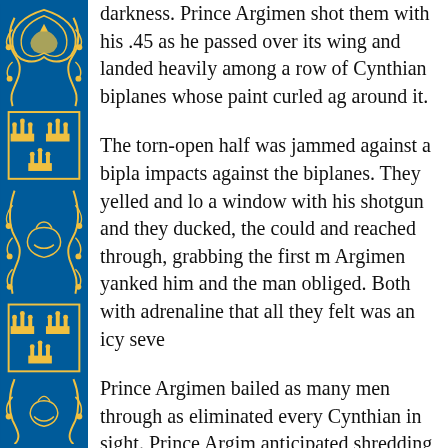[Figure (illustration): Decorative blue sidebar with repeating golden ornamental scrollwork and crown/shield heraldic motifs arranged vertically]
darkness. Prince Argimen shot them with his .45 as he passed over its wing and landed heavily among a row of Cynthian biplanes whose paint curled ag around it.
The torn-open half was jammed against a bipla impacts against the biplanes. They yelled and lo a window with his shotgun and they ducked, the could and reached through, grabbing the first m Argimen yanked him and the man obliged. Both with adrenaline that all they felt was an icy seve
Prince Argimen bailed as many men through as eliminated every Cynthian in sight. Prince Argim anticipated shredding as it came. He searched t His head had been cracked on the glider’s dash “A fitting pyre for a lord of the skies,” he murmu and canvas, hoisting incapacitated men through